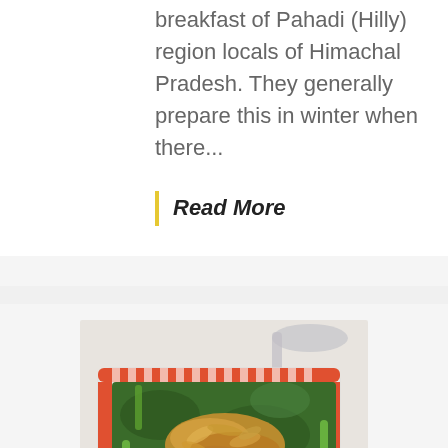breakfast of Pahadi (Hilly) region locals of Himachal Pradesh. They generally prepare this in winter when there...
Read More
[Figure (photo): A bowl of green leafy dish (palak/spinach based) garnished with fried onions and red chillies, served in a square dish with red and white striped rim, with a spoon visible in the background.]